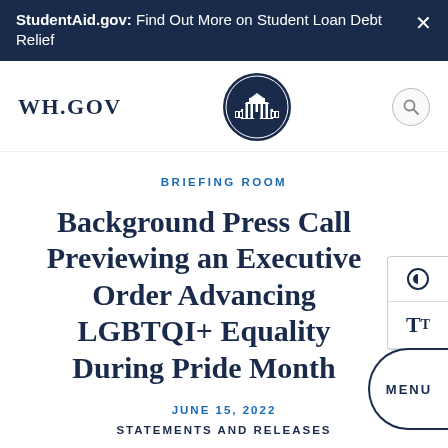StudentAid.gov: Find Out More on Student Loan Debt Relief
WH.GOV
BRIEFING ROOM
Background Press Call Previewing an Executive Order Advancing LGBTQI+ Equality During Pride Month
JUNE 15, 2022
STATEMENTS AND RELEASES